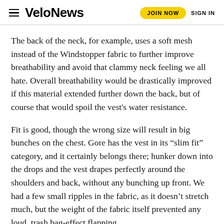VeloNews | JOIN NOW | SIGN IN
The back of the neck, for example, uses a soft mesh instead of the Windstopper fabric to further improve breathability and avoid that clammy neck feeling we all hate. Overall breathability would be drastically improved if this material extended further down the back, but of course that would spoil the vest’s water resistance.
Fit is good, though the wrong size will result in big bunches on the chest. Gore has the vest in its “slim fit” category, and it certainly belongs there; hunker down into the drops and the vest drapes perfectly around the shoulders and back, without any bunching up front. We had a few small ripples in the fabric, as it doesn’t stretch much, but the weight of the fabric itself prevented any loud, trash bag-effect flapping.